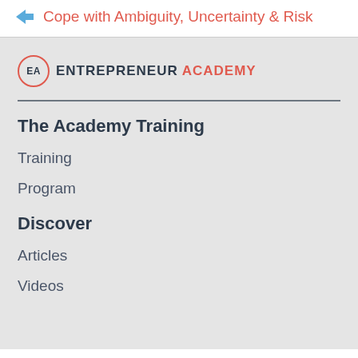Cope with Ambiguity, Uncertainty & Risk
[Figure (logo): Entrepreneur Academy logo with EA in a circle, ENTREPRENEUR in dark blue bold and ACADEMY in red/coral bold]
The Academy Training
Training
Program
Discover
Articles
Videos